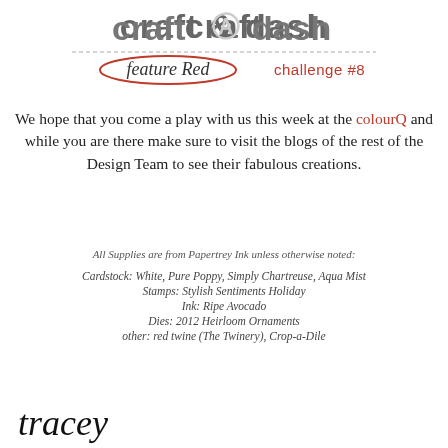[Figure (logo): craft & dash logo with 'feature Red' oval and 'challenge #8' text in coral/red colors with dashed border]
We hope that you come a play with us this week at the colourQ and while you are there make sure to visit the blogs of the rest of the Design Team to see their fabulous creations.
All Supplies are from Papertrey Ink unless otherwise noted:
Cardstock:  White, Pure Poppy, Simply Chartreuse, Aqua Mist
Stamps: Stylish Sentiments Holiday
Ink:  Ripe Avocado
Dies: 2012 Heirloom Ornaments
other: red twine (The Twinery), Crop-a-Dile
tracey